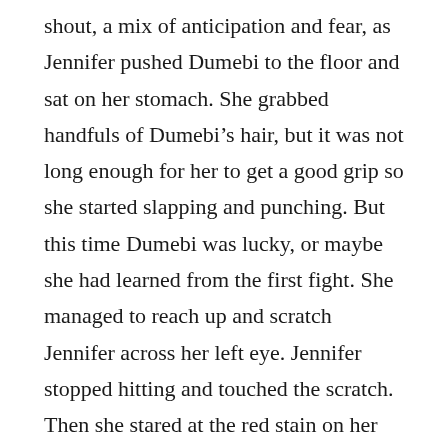shout, a mix of anticipation and fear, as Jennifer pushed Dumebi to the floor and sat on her stomach. She grabbed handfuls of Dumebi’s hair, but it was not long enough for her to get a good grip so she started slapping and punching. But this time Dumebi was lucky, or maybe she had learned from the first fight. She managed to reach up and scratch Jennifer across her left eye. Jennifer stopped hitting and touched the scratch. Then she stared at the red stain on her finger like she’d never seen the colour of her own blood.
Seeing her chance at freedom Dumebi shoved